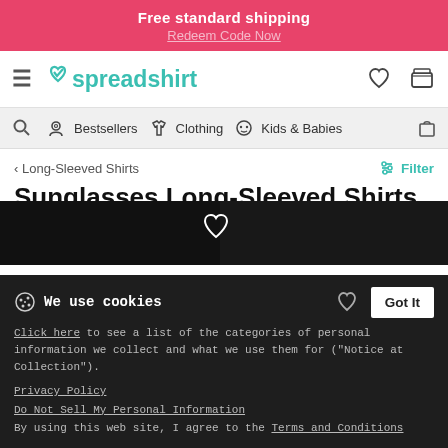Free standard shipping
Redeem Code Now
[Figure (screenshot): Spreadshirt website navigation header with hamburger menu, teal heart logo, wishlist heart icon, and shopping cart icon]
Search | Bestsellers | Clothing | Kids & Babies | Bag
< Long-Sleeved Shirts
Filter
Sunglasses Long-Sleeved Shirts
Men
Women
Kids
[Figure (photo): Dark product strip showing long-sleeved shirts with sunglasses designs]
We use cookies
Click here to see a list of the categories of personal information we collect and what we use them for ("Notice at Collection").
Privacy Policy
Do Not Sell My Personal Information
By using this website, I agree to the Terms and Conditions